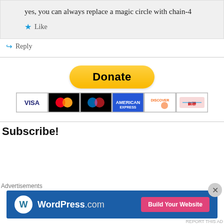yes, you can always replace a magic circle with chain-4
★ Like
↪ Reply
[Figure (other): PayPal Donate button with payment card icons (VISA, Mastercard, PayPal, American Express, Discover, UnionPay)]
Subscribe!
Advertisements
[Figure (other): WordPress.com advertisement banner with Build Your Website button]